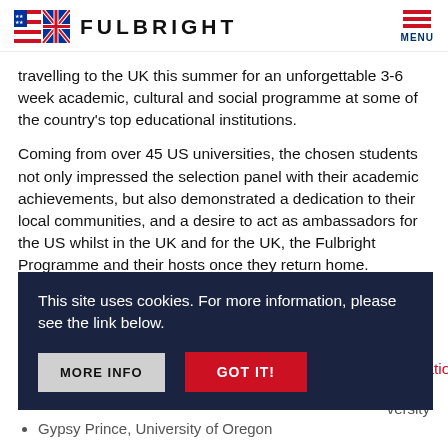FULBRIGHT
travelling to the UK this summer for an unforgettable 3-6 week academic, cultural and social programme at some of the country's top educational institutions.
Coming from over 45 US universities, the chosen students not only impressed the selection panel with their academic achievements, but also demonstrated a dedication to their local communities, and a desire to act as ambassadors for the US whilst in the UK and for the UK, the Fulbright Programme and their hosts once they return home.
[Figure (other): Cookie consent banner overlay with dark navy background, message 'This site uses cookies. For more information, please see the link below.' and two buttons: MORE INFO and GOT IT!]
Education
Gypsy Prince, University of Oregon